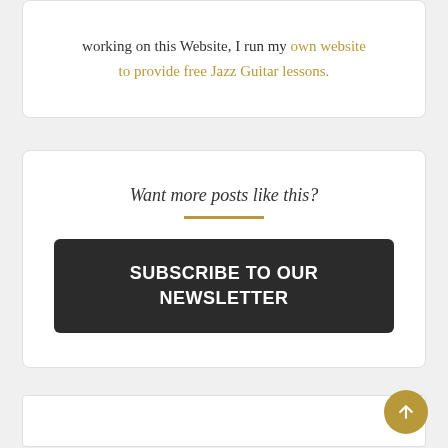working on this Website, I run my own website to provide free Jazz Guitar lessons.
Want more posts like this?
SUBSCRIBE TO OUR NEWSLETTER